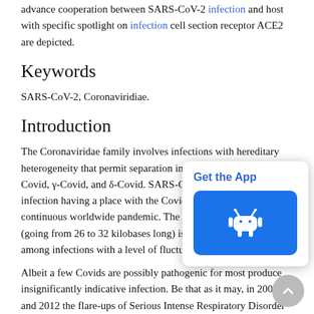advance cooperation between SARS-CoV-2 infection and host with specific spotlight on infection cell section receptor ACE2 are depicted.
Keywords
SARS-CoV-2, Coronaviridiae.
Introduction
The Coronaviridae family involves infections with hereditary heterogeneity that permit separation in four genera: α-Covid, β-Covid, γ-Covid, and δ-Covid. SARS-CoV-2, an original infection having a place with the Covid family is causing the continuous worldwide pandemic. The Covid RNA genome (going from 26 to 32 kilobases long) is the most extensive among infections with a level of fluctuation [1].
Albeit a few Covids are possibly pathogenic for most produce insignificantly indicative infection. Be that as it may, in 2002 and 2012 the flare-ups of Serious Intense Respiratory Disorder (SARS) and Middle
[Figure (other): Get the App popup with Android button overlay in bottom-right corner]